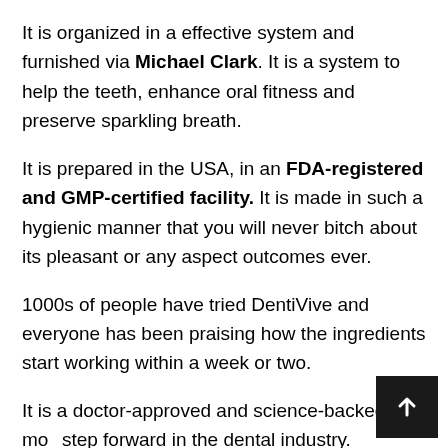It is organized in a effective system and furnished via Michael Clark. It is a system to help the teeth, enhance oral fitness and preserve sparkling breath.
It is prepared in the USA, in an FDA-registered and GMP-certified facility. It is made in such a hygienic manner that you will never bitch about its pleasant or any aspect outcomes ever.
1000s of people have tried DentiVive and everyone has been praising how the ingredients start working within a week or two.
It is a doctor-approved and science-backed mo... step forward in the dental industry.